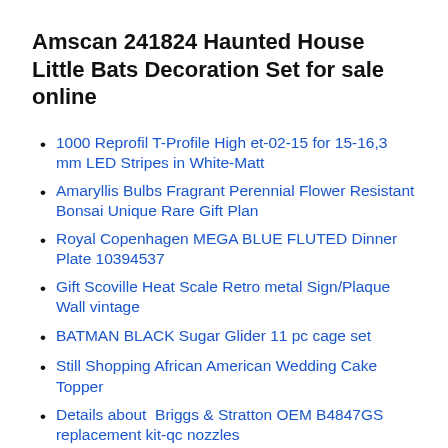Amscan 241824 Haunted House Little Bats Decoration Set for sale online
1000 Reprofil T-Profile High et-02-15 for 15-16,3 mm LED Stripes in White-Matt
Amaryllis Bulbs Fragrant Perennial Flower Resistant Bonsai Unique Rare Gift Plan
Royal Copenhagen MEGA BLUE FLUTED Dinner Plate 10394537
Gift Scoville Heat Scale Retro metal Sign/Plaque Wall vintage
BATMAN BLACK Sugar Glider 11 pc cage set
Still Shopping African American Wedding Cake Topper
Details about  Briggs & Stratton OEM B4847GS replacement kit-qc nozzles